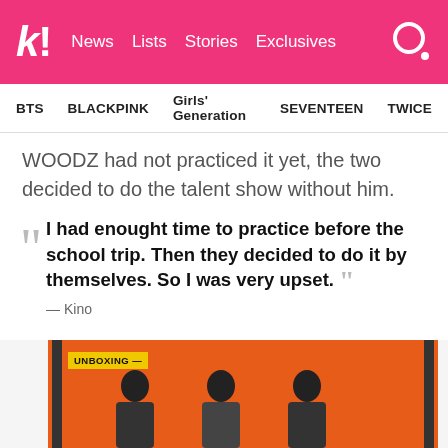k! News Lists Stories Exclusives
BTS  BLACKPINK  Girls' Generation  SEVENTEEN  TWICE
WOODZ had not practiced it yet, the two decided to do the talent show without him.
I had enought time to practice before the school trip. Then they decided to do it by themselves. So I was very upset.
— Kino
[Figure (photo): Photo of people in front of an orange background, with an UNBOXING label overlay at the top left]